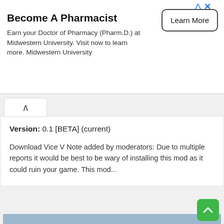[Figure (screenshot): Advertisement banner: 'Become A Pharmacist' with Learn More button, from Midwestern University]
Version: 0.1 [BETA] (current)
Download Vice V Note added by moderators: Due to multiple reports it would be best to be wary of installing this mod as it could ruin your game. This mod...
[Figure (screenshot): GTA-style video game screenshot showing aerial view of a ramp structure over a city]